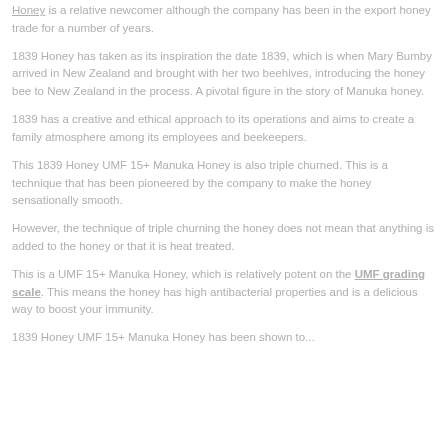Honey is a relative newcomer although the company has been in the export honey trade for a number of years.
1839 Honey has taken as its inspiration the date 1839, which is when Mary Bumby arrived in New Zealand and brought with her two beehives, introducing the honey bee to New Zealand in the process. A pivotal figure in the story of Manuka honey.
1839 has a creative and ethical approach to its operations and aims to create a family atmosphere among its employees and beekeepers.
This 1839 Honey UMF 15+ Manuka Honey is also triple churned. This is a technique that has been pioneered by the company to make the honey sensationally smooth.
However, the technique of triple churning the honey does not mean that anything is added to the honey or that it is heat treated.
This is a UMF 15+ Manuka Honey, which is relatively potent on the UMF grading scale. This means the honey has high antibacterial properties and is a delicious way to boost your immunity.
1839 Honey UMF 15+ Manuka Honey has been shown to...